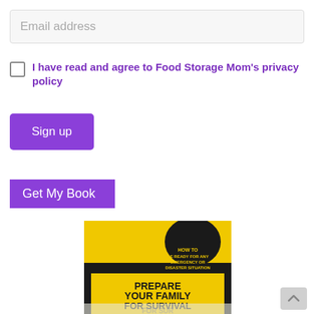Email address
I have read and agree to Food Storage Mom's privacy policy
Sign up
Get My Book
[Figure (photo): Book cover showing 'PREPARE YOUR FAMILY FOR SURVIVAL - HOW TO BE READY FOR ANY EMERGENCY OR DISASTER SITUATION' with black and yellow design]